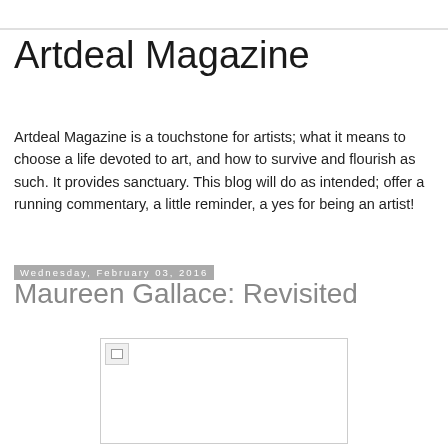Artdeal Magazine
Artdeal Magazine is a touchstone for artists; what it means to choose a life devoted to art, and how to survive and flourish as such. It provides sanctuary. This blog will do as intended; offer a running commentary, a little reminder, a yes for being an artist!
Wednesday, February 03, 2016
Maureen Gallace: Revisited
[Figure (photo): Broken image placeholder within a bordered rectangle]